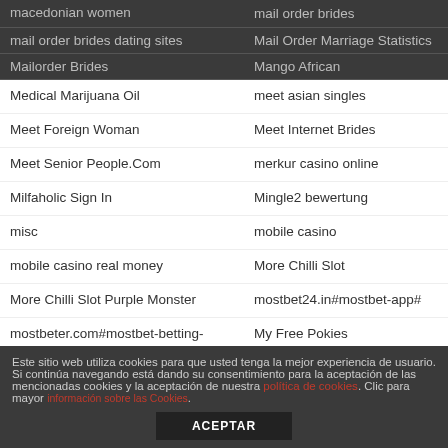macedonian women | mail order brides
mail order brides dating sites | Mail Order Marriage Statistics
Mailorder Brides | Mango African
Medical Marijuana Oil | meet asian singles
Meet Foreign Woman | Meet Internet Brides
Meet Senior People.Com | merkur casino online
Milfaholic Sign In | Mingle2 bewertung
misc | mobile casino
mobile casino real money | More Chilli Slot
More Chilli Slot Purple Monster | mostbet24.in#mostbet-app#
mostbeter.com#mostbet-betting- | My Free Pokies
Este sitio web utiliza cookies para que usted tenga la mejor experiencia de usuario. Si continúa navegando está dando su consentimiento para la aceptación de las mencionadas cookies y la aceptación de nuestra política de cookies. Clic para mayor información sobre las Cookies.